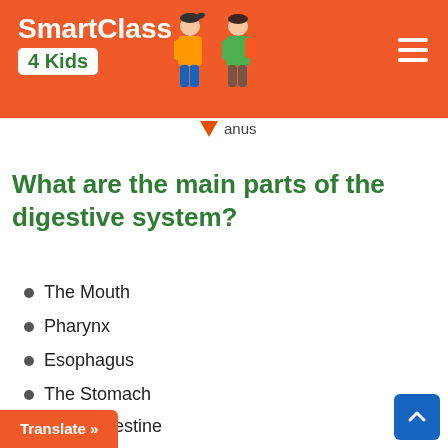SmartClass 4 Kids
[Figure (illustration): Partial diagram of digestive system showing anus label with downward arrow]
What are the main parts of the digestive system?
The Mouth
Pharynx
Esophagus
The Stomach
Small Intestine
Large Intestine (Colon)